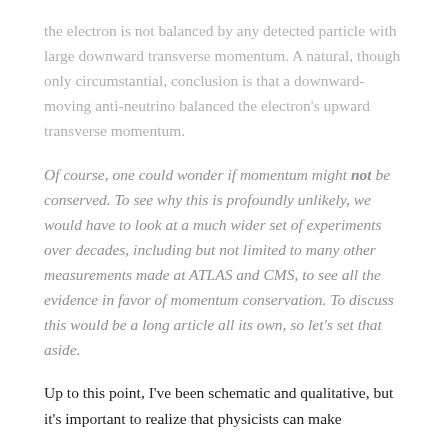the electron is not balanced by any detected particle with large downward transverse momentum. A natural, though only circumstantial, conclusion is that a downward-moving anti-neutrino balanced the electron's upward transverse momentum.
Of course, one could wonder if momentum might not be conserved. To see why this is profoundly unlikely, we would have to look at a much wider set of experiments over decades, including but not limited to many other measurements made at ATLAS and CMS, to see all the evidence in favor of momentum conservation. To discuss this would be a long article all its own, so let's set that aside.
Up to this point, I've been schematic and qualitative, but it's important to realize that physicists can make